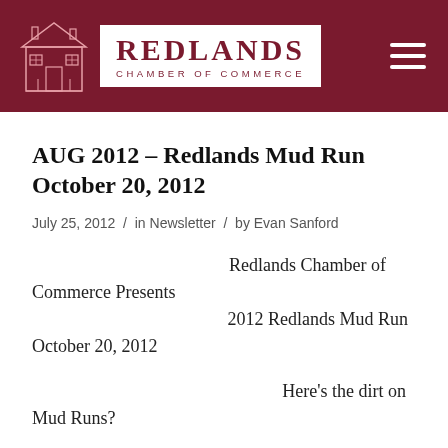REDLANDS CHAMBER OF COMMERCE
AUG 2012 – Redlands Mud Run October 20, 2012
July 25, 2012 / in Newsletter / by Evan Sanford
Redlands Chamber of Commerce Presents
2012 Redlands Mud Run
October 20, 2012
Here's the dirt on Mud Runs?